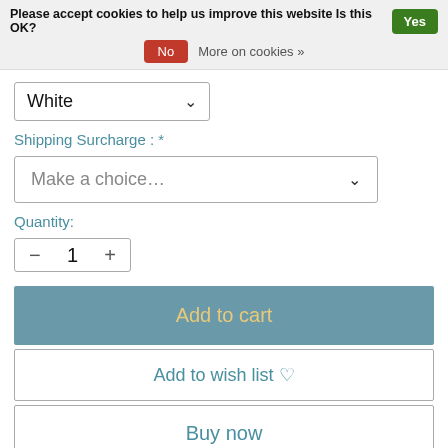Please accept cookies to help us improve this website Is this OK? Yes No More on cookies »
White
Shipping Surcharge : *
Make a choice...
Quantity:
1
Add to cart
Add to wish list ♡
Buy now
⇄ Add to compare